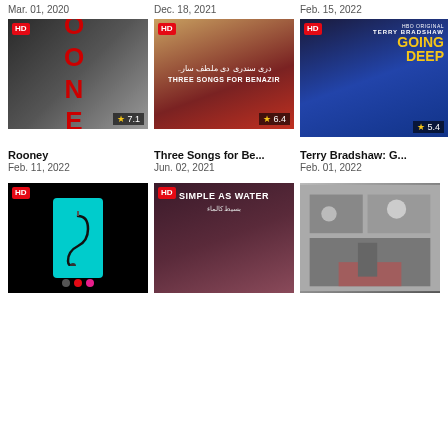Mar. 01, 2020
Dec. 18, 2021
Feb. 15, 2022
[Figure (photo): Rooney documentary movie poster with HD badge and rating 7.1]
[Figure (photo): Three Songs for Benazir documentary poster with HD badge and rating 6.4]
[Figure (photo): Terry Bradshaw: Going Deep HBO Original poster with HD badge and rating 5.4]
Rooney
Feb. 11, 2022
Three Songs for Be...
Jun. 02, 2021
Terry Bradshaw: G...
Feb. 01, 2022
[Figure (photo): The hook movie poster with phone graphic, HD badge]
[Figure (photo): Simple as Water documentary poster with HD badge]
[Figure (photo): Black and white historical documentary poster with HD badge]